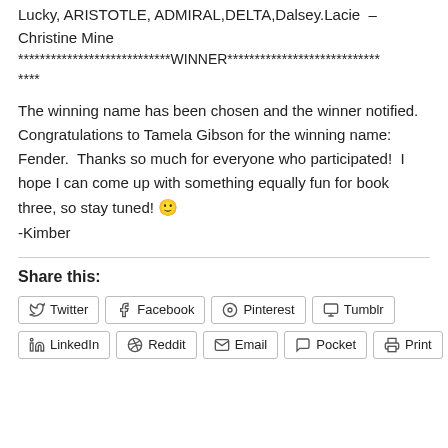Lucky, ARISTOTLE, ADMIRAL,DELTA,Dalsey.Lacie  – Christine Mine
****************************WINNER****************************
The winning name has been chosen and the winner notified. Congratulations to Tamela Gibson for the winning name: Fender.  Thanks so much for everyone who participated!  I hope I can come up with something equally fun for book three, so stay tuned! 🙂
-Kimber
Share this:
Twitter
Facebook
Pinterest
Tumblr
LinkedIn
Reddit
Email
Pocket
Print